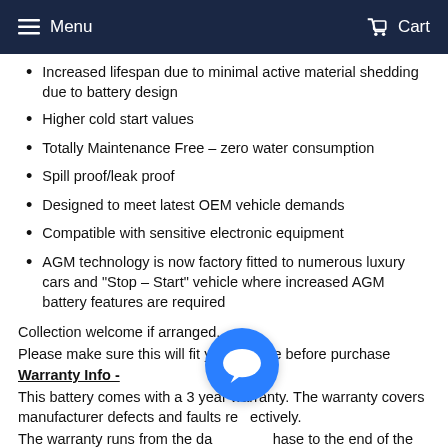Menu   Cart
Increased lifespan due to minimal active material shedding due to battery design
Higher cold start values
Totally Maintenance Free – zero water consumption
Spill proof/leak proof
Designed to meet latest OEM vehicle demands
Compatible with sensitive electronic equipment
AGM technology is now factory fitted to numerous luxury cars and "Stop – Start" vehicle where increased AGM battery features are required
Collection welcome if arranged.
Please make sure this will fit your vehicle before purchase
Warranty Info -
This battery comes with a 3 year warranty. The warranty covers manufacturer defects and faults respectively.
The warranty runs from the date of purchase to the end of the warranty period stated above (...).
The warranty does not include damage caused by incorrect fitment, lack of maintenance or neglect due to a lack of charging. The battery